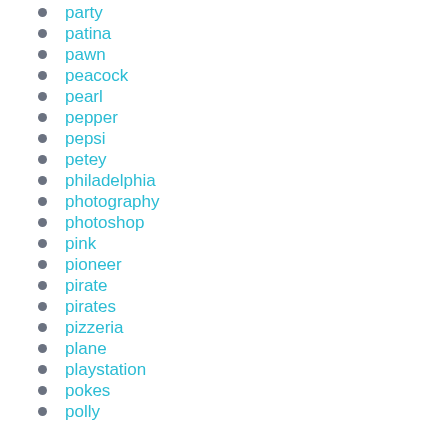party
patina
pawn
peacock
pearl
pepper
pepsi
petey
philadelphia
photography
photoshop
pink
pioneer
pirate
pirates
pizzeria
plane
playstation
pokes
polly